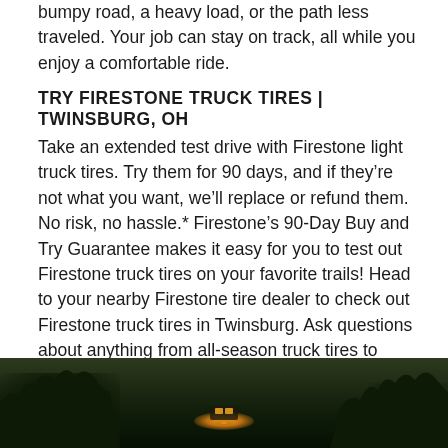bumpy road, a heavy load, or the path less traveled. Your job can stay on track, all while you enjoy a comfortable ride.
TRY FIRESTONE TRUCK TIRES | TWINSBURG, OH
Take an extended test drive with Firestone light truck tires. Try them for 90 days, and if they’re not what you want, we’ll replace or refund them. No risk, no hassle.* Firestone’s 90-Day Buy and Try Guarantee makes it easy for you to test out Firestone truck tires on your favorite trails! Head to your nearby Firestone tire dealer to check out Firestone truck tires in Twinsburg. Ask questions about anything from all-season truck tires to rugged All-Terrain tires. There’s a Firestone truck tire that suits both work and leisure in your truck or SUV. *Certain restrictions and limits apply. See all terms and conditions in the warranty manual.
[Figure (photo): Dark landscape photo showing silhouetted trees on left and right sides with a truck visible in the middle distance with headlights/lights glowing, taken at dusk or night on a road.]